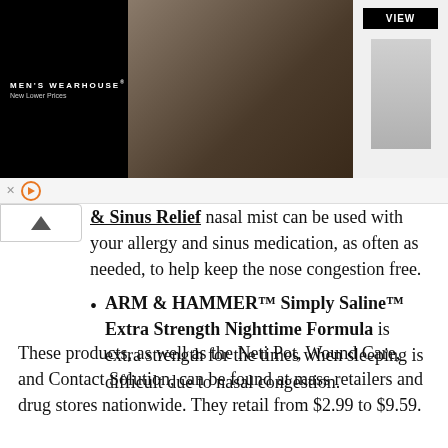[Figure (screenshot): Men's Wearhouse advertisement banner showing a couple dressed formally and a man in a suit with a VIEW button]
& Sinus Relief nasal mist can be used with your allergy and sinus medication, as often as needed, to help keep the nose congestion free.
ARM & HAMMER™ Simply Saline™ Extra Strength Nighttime Formula is extra strength for the times when sleeping is difficult due to nasal congestion.
These products, as well as the Neti Pot, Wound Care, and Contact Solution, can be found at mass retailers and drug stores nationwide. They retail from $2.99 to $9.59.